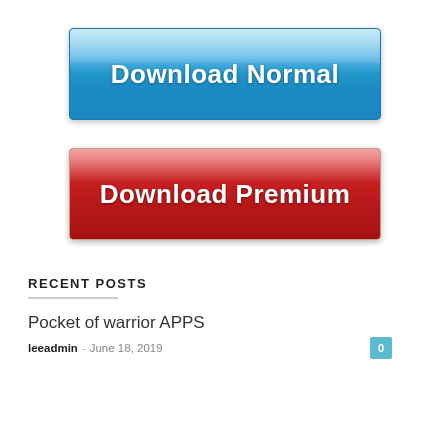[Figure (illustration): Blue glossy button with white bold text 'Download Normal']
[Figure (illustration): Red glossy button with white bold text 'Download Premium']
RECENT POSTS
Pocket of warrior APPS
leeadmin – June 18, 2019  0